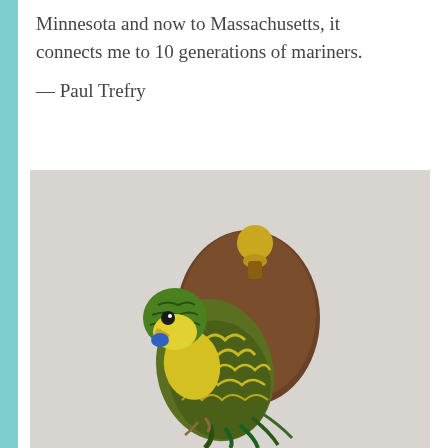Minnesota and now to Massachusetts, it connects me to 10 generations of mariners.
— Paul Trefry
[Figure (photo): A green and yellow budgerigar (parakeet) perched on a brown wooden mount with a small brass bell at the top, photographed against a light gray background.]